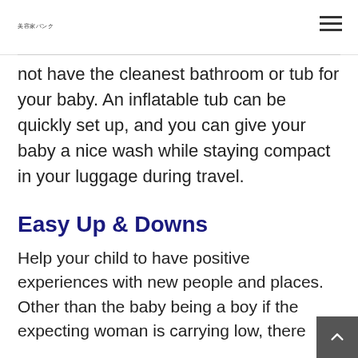美容家バンク
not have the cleanest bathroom or tub for your baby. An inflatable tub can be quickly set up, and you can give your baby a nice wash while staying compact in your luggage during travel.
Easy Up & Downs
Help your child to have positive experiences with new people and places. Other than the baby being a boy if the expecting woman is carrying low, there